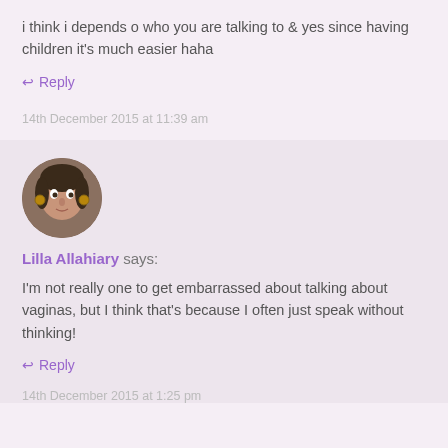i think i depends o who you are talking to & yes since having children it's much easier haha
↩ Reply
14th December 2015 at 11:39 am
[Figure (photo): Circular avatar photo of Lilla Allahiary]
Lilla Allahiary says:
I'm not really one to get embarrassed about talking about vaginas, but I think that's because I often just speak without thinking!
↩ Reply
14th December 2015 at 1:25 pm